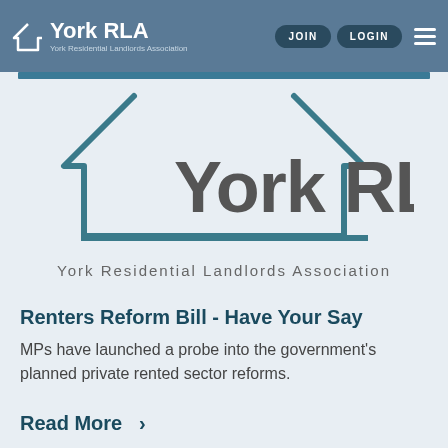York RLA | York Residential Landlords Association | JOIN | LOGIN
[Figure (logo): York RLA logo — house outline in teal/blue with 'York RLA' text in dark grey and 'York Residential Landlords Association' tagline below]
Renters Reform Bill - Have Your Say
MPs have launched a probe into the government's planned private rented sector reforms.
Read More >